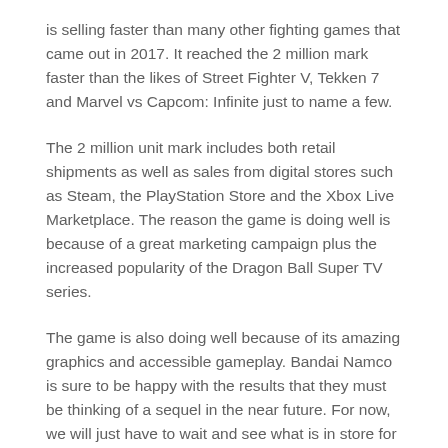is selling faster than many other fighting games that came out in 2017. It reached the 2 million mark faster than the likes of Street Fighter V, Tekken 7 and Marvel vs Capcom: Infinite just to name a few.
The 2 million unit mark includes both retail shipments as well as sales from digital stores such as Steam, the PlayStation Store and the Xbox Live Marketplace. The reason the game is doing well is because of a great marketing campaign plus the increased popularity of the Dragon Ball Super TV series.
The game is also doing well because of its amazing graphics and accessible gameplay. Bandai Namco is sure to be happy with the results that they must be thinking of a sequel in the near future. For now, we will just have to wait and see what is in store for DLC because the game has more than enough room to add some fighters that did not make the cut. Some characters that need to be in a video game include Jiren, Kale, Caulifa and more from the DB Super series.